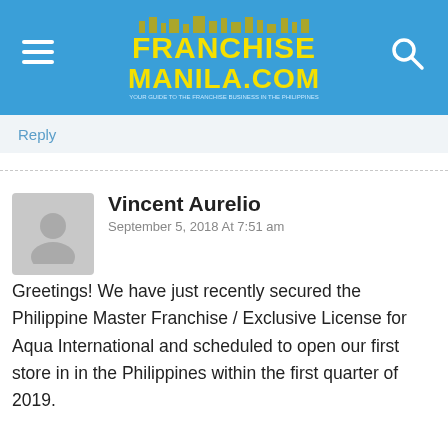[Figure (logo): FranchiseManila.com logo with yellow bold text on blue background, hamburger menu icon on left, search icon on right]
Reply
Vincent Aurelio
September 5, 2018 At 7:51 am
Greetings! We have just recently secured the Philippine Master Franchise / Exclusive License for Aqua International and scheduled to open our first store in in the Philippines within the first quarter of 2019.

What is Aqua S? It's basically an premium ice cream company which started in Australia and specializing in Okinawa style and quality soft serve in 140+ flavors suit to the Asian and Filipino palette and taste. Think of it as a high-end Dairy Queen with unique and signature Asian and